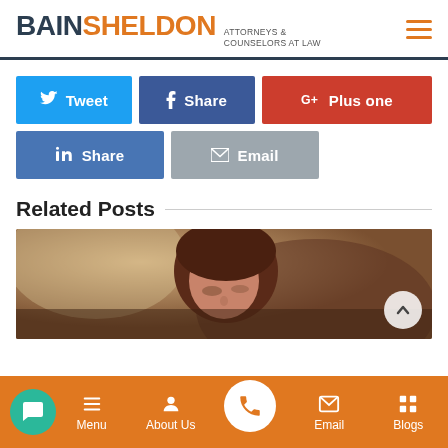BAIN SHELDON ATTORNEYS & COUNSELORS AT LAW
Tweet
Share (Facebook)
Plus one
Share (LinkedIn)
Email
Related Posts
[Figure (photo): A woman with short red-brown hair looking downward, blurred background with warm tones]
Menu | About Us | Phone | Email | Blogs